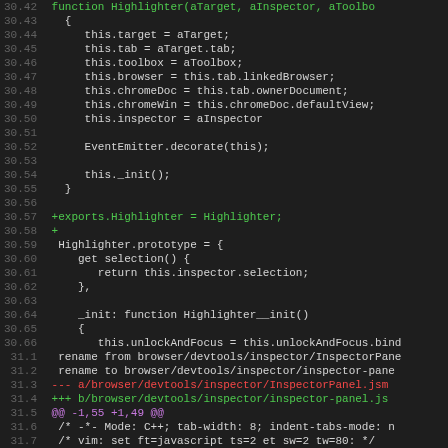[Figure (screenshot): Code diff view showing JavaScript source code with line numbers, displaying a Highlighter constructor function and prototype definition, with diff markers (added lines in green, removed lines in red), and file rename metadata lines in gray/red/green/magenta colors. Lines 30.43 through 31.8 are visible.]